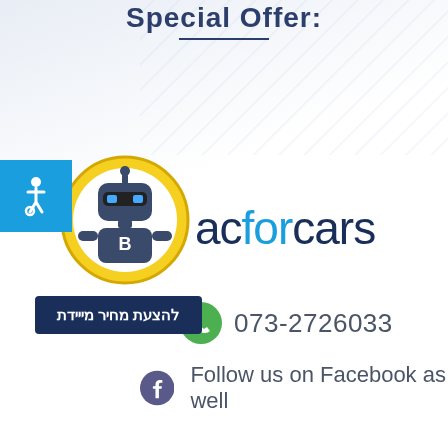Special Offer:
[Figure (logo): acforcars logo with robot chatbot icon in yellow circle]
להצעת מחיר מייידת
073-2726033
Follow us on Facebook as well